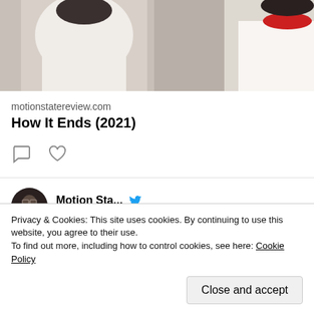[Figure (photo): Movie scene showing people from behind, one wearing a white shirt with red collar]
motionstatereview.com
How It Ends (2021)
[Figure (screenshot): Tweet from Motion Sta... dated May 4, 2021 with Twitter bird icon]
#Lupin has a fair number of plot holes, but it also has one of the best actors around — Monsieur
Privacy & Cookies: This site uses cookies. By continuing to use this website, you agree to their use.
To find out more, including how to control cookies, see here: Cookie Policy
Close and accept